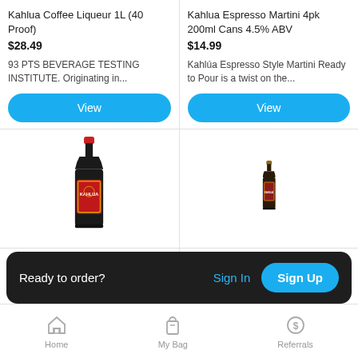Kahlua Coffee Liqueur 1L (40 Proof)
$28.49
93 PTS BEVERAGE TESTING INSTITUTE. Originating in...
View
Kahlua Espresso Martini 4pk 200ml Cans 4.5% ABV
$14.99
Kahlúa Espresso Style Martini Ready to Pour is a twist on the...
View
[Figure (photo): Kahlua large dark bottle with red label]
[Figure (photo): Small Kahlua bottle]
Ka
$24.99
$19.99
Ready to order?
Sign In
Sign Up
Home
My Bag
Referrals